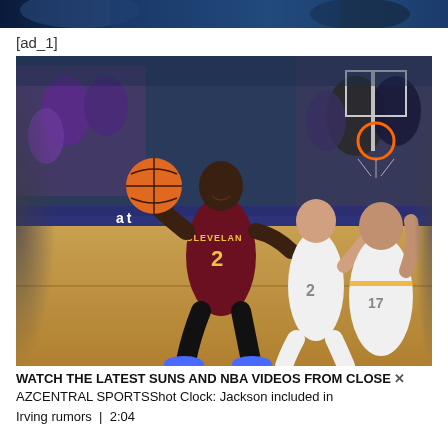[Figure (photo): Partial top strip of a basketball game photo, cropped at top of page]
[ad_1]
[Figure (photo): NBA basketball action photo showing a Cleveland Cavaliers player wearing jersey number 2 driving to the basket against Phoenix Suns defenders on a basketball court. Spectators visible in background.]
WATCH THE LATEST SUNS AND NBA VIDEOS FROM CLOSE AZCENTRAL SPORTSShot Clock: Jackson included in Irving rumors | 2:04